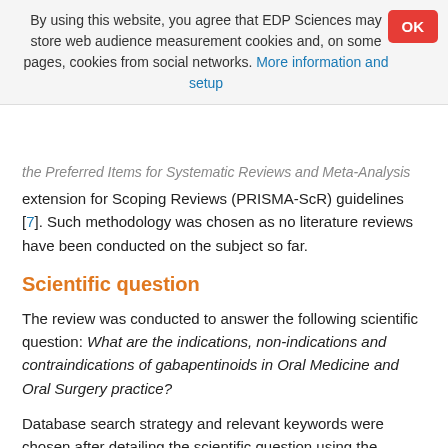By using this website, you agree that EDP Sciences may store web audience measurement cookies and, on some pages, cookies from social networks. More information and setup
OK
…the Preferred Items for Systematic Reviews and Meta-Analysis extension for Scoping Reviews (PRISMA-ScR) guidelines [7]. Such methodology was chosen as no literature reviews have been conducted on the subject so far.
Scientific question
The review was conducted to answer the following scientific question: What are the indications, non-indications and contraindications of gabapentinoids in Oral Medicine and Oral Surgery practice?
Database search strategy and relevant keywords were chosen after detailing the scientific question using the PICOS methodology: